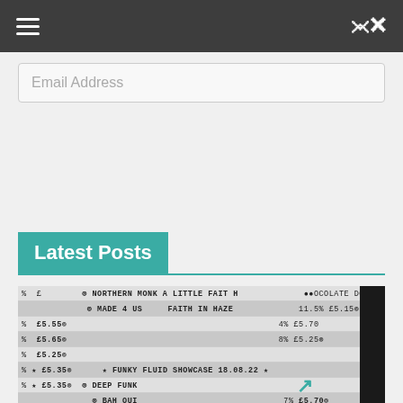Navigation bar with hamburger menu and shuffle icon
Email Address
Subscribe
Latest Posts
[Figure (photo): A beer menu board showing items including Northern Monk A Little Faith, Made 4 Us, Faith in Haze, Funky Fluid Showcase 18.08.22, Deep Funk, Bah Oui, Triple Gelato with prices ranging from £5.25 to £5.80 and ABV percentages. Bottom text reads TRY ANYTHING! JUST ASK FOR A TASTER. ALL PRICES FOR PINTS UNLESS noted.]